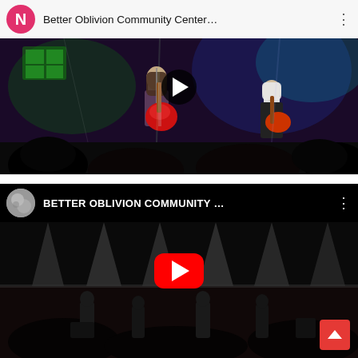[Figure (screenshot): YouTube video card showing a concert scene. Header with pink 'N' avatar and title 'Better Oblivion Community Center...' with three-dot menu. Concert thumbnail showing guitarist with red guitar on stage under colorful lights, with play button overlay.]
[Figure (screenshot): YouTube video card with dark header showing moon avatar and title 'BETTER OBLIVION COMMUNITY ...' in white with three-dot menu. Concert thumbnail showing band on stage with bright spotlight beams, YouTube play button overlay, and a red scroll-up button in the bottom right corner.]